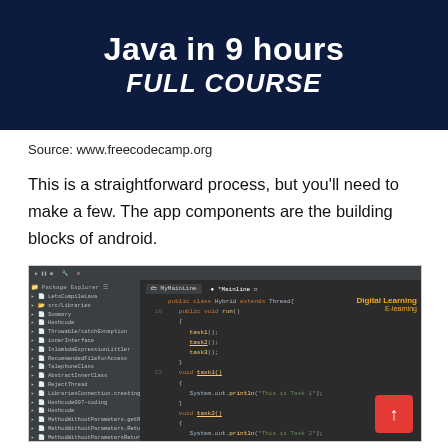[Figure (illustration): Dark navy banner with white text reading 'Java in 9 hours' and 'FULL COURSE' in bold italic]
Source: www.freecodecamp.org
This is a straightforward process, but you’ll need to make a few. The app components are the building blocks of android.
[Figure (screenshot): Screenshot of a Java IDE (IntelliJ/Eclipse) showing code for a class named Hybrid extending Thread with methods task1, task2, task3 using System.out.println statements. Left panel shows project file tree. Watermark reads 'Digital Learning E-learning'. Red up-arrow button in bottom right.]